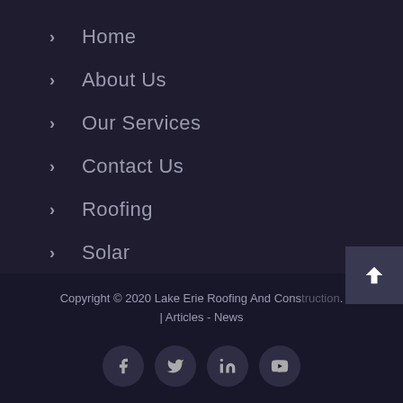Home
About Us
Our Services
Contact Us
Roofing
Solar
Windows
Copyright © 2020 Lake Erie Roofing And Cons... | Articles - News